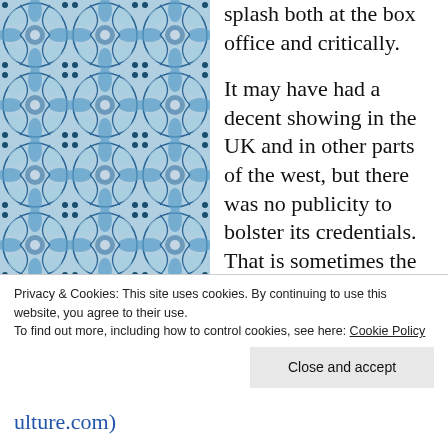[Figure (illustration): Decorative blue and white tile/mosaic pattern on left side of page]
splash both at the box office and critically.

It may have had a decent showing in the UK and in other parts of the west, but there was no publicity to bolster its credentials. That is sometimes the way, while some films backed by big Indian studios, get the full machine blast
[Figure (illustration): Decorative blue and white tile/mosaic pattern on right side of page]
Privacy & Cookies: This site uses cookies. By continuing to use this website, you agree to their use.
To find out more, including how to control cookies, see here: Cookie Policy
Close and accept
ulture.com)